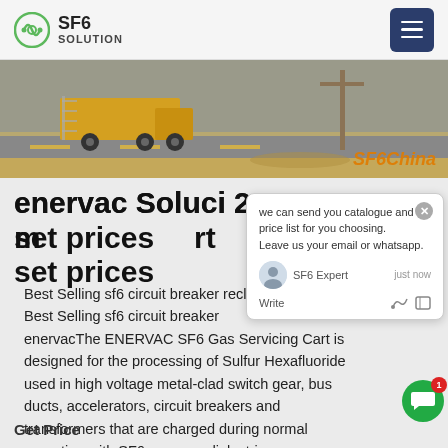SF6 SOLUTION
[Figure (photo): Outdoor scene with yellow truck/vehicle near a road with dry grass and utility poles. SF6China watermark in orange italic text at bottom right.]
enervac Soluci 243 manufacturer set prices
Best Selling sf6 circuit breaker recla. Best Selling sf6 circuit breaker enervacThe ENERVAC SF6 Gas Servicing Cart is designed for the processing of Sulfur Hexafluoride used in high voltage metal-clad switch gear, bus ducts, accelerators, circuit breakers and transformers that are charged during normal operation with SF6 gas as a dielectric.
Get Price